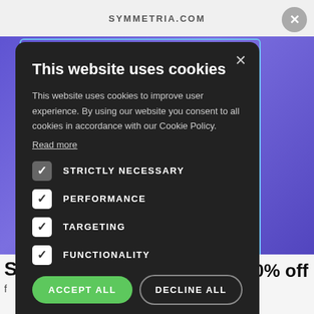[Figure (screenshot): Cookie consent modal dialog on a website (symmetria.com) with dark background, showing title, body text, checkboxes for cookie categories, Accept All and Decline All buttons, and a Show Details link.]
This website uses cookies
This website uses cookies to improve user experience. By using our website you consent to all cookies in accordance with our Cookie Policy.
Read more
STRICTLY NECESSARY
PERFORMANCE
TARGETING
FUNCTIONALITY
ACCEPT ALL
DECLINE ALL
SHOW DETAILS
POWERED BY COOKIESCRIPT